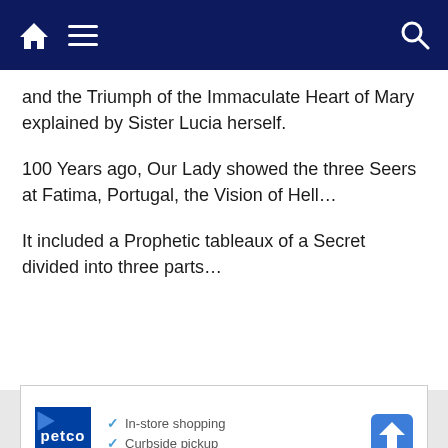Navigation bar with home, menu, and search icons
and the Triumph of the Immaculate Heart of Mary explained by Sister Lucia herself.
100 Years ago, Our Lady showed the three Seers at Fatima, Portugal, the Vision of Hell…
It included a Prophetic tableaux of a Secret divided into three parts…
[Figure (other): Petco advertisement showing In-store shopping and Curbside pickup options with directions icon and play button]